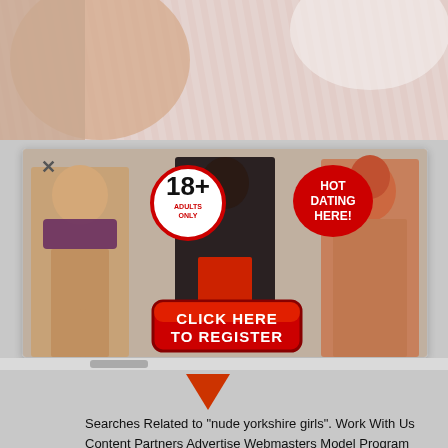[Figure (photo): Top cropped image showing striped fabric/bedding background]
[Figure (infographic): Adult dating popup advertisement with 18+ badge, HOT DATING HERE badge, three female figures, and a red CLICK HERE TO REGISTER button]
Searches Related to "nude yorkshire girls". Work With Us Content Partners Advertise Webmasters Model Program Press. Support and Help Content Removal Contact Support